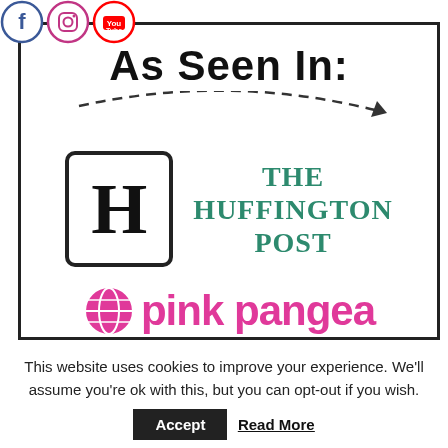[Figure (logo): Three social media icons: Facebook (circle with f), Instagram (circle with camera), YouTube (circle with play button)]
[Figure (infographic): As Seen In box with The Huffington Post logo (H in rounded square) and pink pangea logo, with dashed curved arrow. Title reads 'As Seen In:' in bold black Impact font.]
This website uses cookies to improve your experience. We'll assume you're ok with this, but you can opt-out if you wish.
Accept  Read More